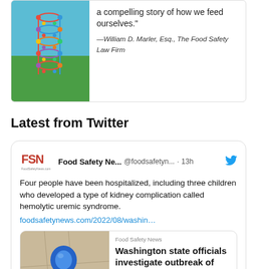[Figure (illustration): Book cover image with DNA/molecule graphic over green field and sky, beside a quote card]
a compelling story of how we feed ourselves." —William D. Marler, Esq., The Food Safety Law Firm
Latest from Twitter
[Figure (screenshot): Twitter/social media card from Food Safety News (@foodsafetyn...) posted 13h ago. Tweet text: Four people have been hospitalized, including three children who developed a type of kidney complication called hemolytic uremic syndrome. foodsafetynews.com/2022/08/washin... With embedded article preview: Washington state officials investigate outbreak of infections caused by E. coli]